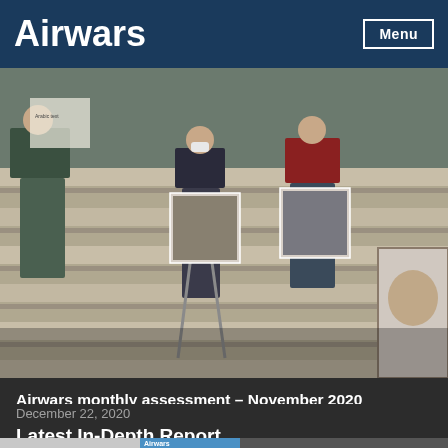Airwars | Menu
[Figure (photo): Children and adults standing on stone steps holding photographs and signs. A child with crutches is visible in the center holding a photo. People are wearing winter clothes. Arabic text visible on signs in background.]
Airwars monthly assessment – November 2020
December 22, 2020
Mohammed al Jumaily
Latest In-Depth Report
[Figure (screenshot): Partial preview of an article image: grey section on left, blue section in center with Airwars label, dark section on right with smoke image.]